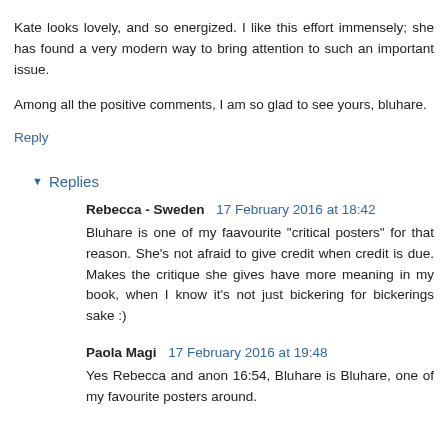Kate looks lovely, and so energized. I like this effort immensely; she has found a very modern way to bring attention to such an important issue.
Among all the positive comments, I am so glad to see yours, bluhare.
Reply
Replies
Rebecca - Sweden  17 February 2016 at 18:42
Bluhare is one of my faavourite "critical posters" for that reason. She's not afraid to give credit when credit is due. Makes the critique she gives have more meaning in my book, when I know it's not just bickering for bickerings sake :)
Paola Magi  17 February 2016 at 19:48
Yes Rebecca and anon 16:54, Bluhare is Bluhare, one of my favourite posters around.